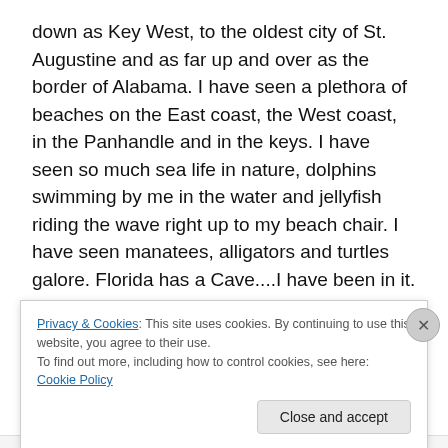down as Key West, to the oldest city of St. Augustine and as far up and over as the border of Alabama. I have seen a plethora of beaches on the East coast, the West coast, in the Panhandle and in the keys. I have seen so much sea life in nature, dolphins swimming by me in the water and jellyfish riding the wave right up to my beach chair. I have seen manatees, alligators and turtles galore. Florida has a Cave....I have been in it. Florida has a wolf Preserve....I have hugged a wolf....yea! Sushi, smoked salmon, ahi tuna.....the food I have eaten is so awesome. The gardens and natural parks I have visited. Riding my
Privacy & Cookies: This site uses cookies. By continuing to use this website, you agree to their use.
To find out more, including how to control cookies, see here: Cookie Policy
Close and accept